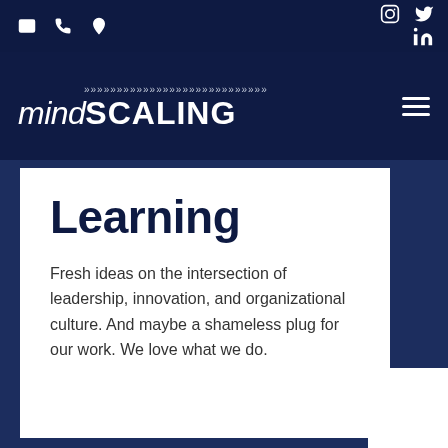mindSCALING navigation bar with email, phone, location, Instagram, Twitter, LinkedIn icons
[Figure (logo): mindSCALING logo with chevron decoration on dark navy background, with hamburger menu icon on right]
Learning
Fresh ideas on the intersection of leadership, innovation, and organizational culture. And maybe a shameless plug for our work. We love what we do.